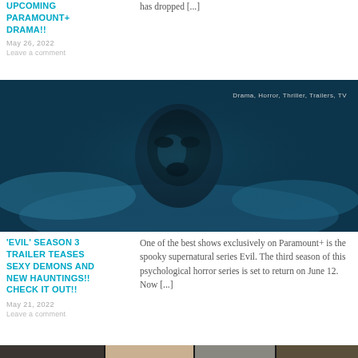UPCOMING PARAMOUNT+ DRAMA!!
has dropped [...]
May 26, 2022
Leave a comment
[Figure (photo): Dark blue-tinted horror image of a person lying down looking upward, appearing distressed. Tags in upper right: Drama, Horror, Thriller, Trailers, TV]
'EVIL' SEASON 3 TRAILER TEASES SEXY DEMONS AND NEW HAUNTINGS!! CHECK IT OUT!!
One of the best shows exclusively on Paramount+ is the spooky supernatural series Evil. The third season of this psychological horror series is set to return on June 12. Now [...]
May 21, 2022
Leave a comment
[Figure (photo): Bottom strip showing partial images of additional articles]